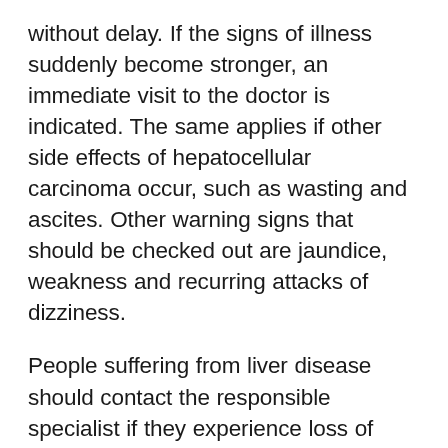without delay. If the signs of illness suddenly become stronger, an immediate visit to the doctor is indicated. The same applies if other side effects of hepatocellular carcinoma occur, such as wasting and ascites. Other warning signs that should be checked out are jaundice, weakness and recurring attacks of dizziness.
People suffering from liver disease should contact the responsible specialist if they experience loss of appetite and other unusual symptoms. Other risk groups, such as hepatitis B and C patients and people with a congenital iron metabolism disease, must also see a doctor immediately if there are warning signs. If the cancer is not treated, chronic symptoms can set in. In addition, untreated liver